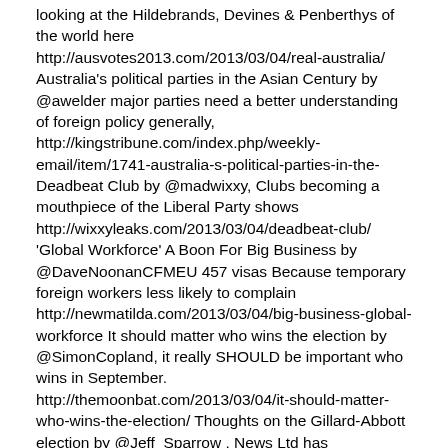looking at the Hildebrands, Devines & Penberthys of the world here http://ausvotes2013.com/2013/03/04/real-australia/ Australia's political parties in the Asian Century by @awelder major parties need a better understanding of foreign policy generally, http://kingstribune.com/index.php/weekly-email/item/1741-australia-s-political-parties-in-the- Deadbeat Club by @madwixxy, Clubs becoming a mouthpiece of the Liberal Party shows http://wixxyleaks.com/2013/03/04/deadbeat-club/ 'Global Workforce' A Boon For Big Business by @DaveNoonanCFMEU 457 visas Because temporary foreign workers less likely to complain http://newmatilda.com/2013/03/04/big-business-global-workforce It should matter who wins the election by @SimonCopland, it really SHOULD be important who wins in September. http://themoonbat.com/2013/03/04/it-should-matter-who-wins-the-election/ Thoughts on the Gillard-Abbott election by @Jeff_Sparrow , News Ltd has campaigned against Gillard hysterically & relentlessly http://overland.org.au/blogs/new-words/2013/03/thoughts-on-the-gillard-abbott-election/ Conspiracy update @MigloMT The NBN will effect Murdoch's profits, http://cafewhispers.wordpress.com/2013/03/04/conspiracy-